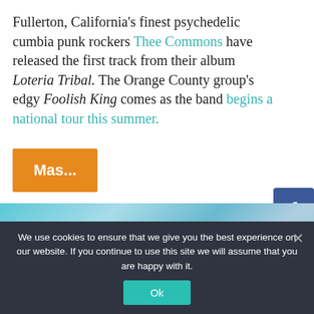Fullerton, California's finest psychedelic cumbia punk rockers Thee Commons have released the first track from their album Loteria Tribal. The Orange County group's edgy Foolish King comes as the band begins a national tour this summer.
Mas...
[Figure (photo): Blurred blue and white abstract image, resembling cloudy sky or water]
We use cookies to ensure that we give you the best experience on our website. If you continue to use this site we will assume that you are happy with it.